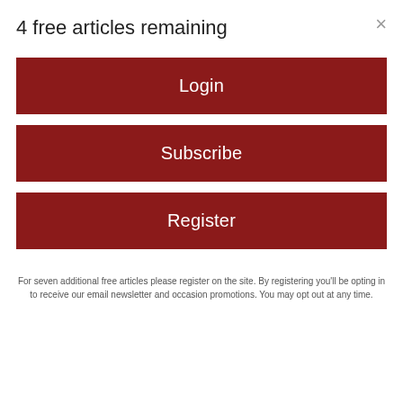4 free articles remaining
Login
Subscribe
Register
For seven additional free articles please register on the site. By registering you'll be opting in to receive our email newsletter and occasion promotions. You may opt out at any time.
Means is set to release her 10th album on Friday, “Live at Northfire,” recorded live as a trio at Northfire Recording Studio in Amherst with her backing band, The